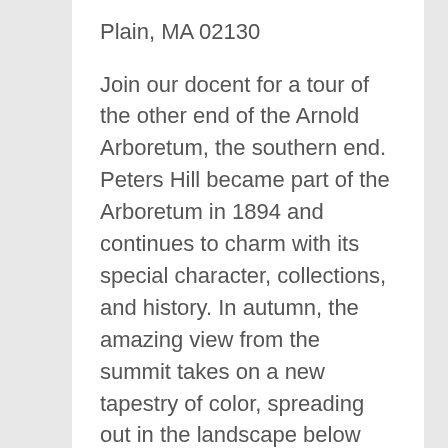Plain, MA 02130
Join our docent for a tour of the other end of the Arnold Arboretum, the southern end. Peters Hill became part of the Arboretum in 1894 and continues to charm with its special character, collections, and history. In autumn, the amazing view from the summit takes on a new tapestry of color, spreading out in the landscape below you. Learn the history of the land, along with information on the woody plants located here, like the collection of crabapples fruiting in many colors